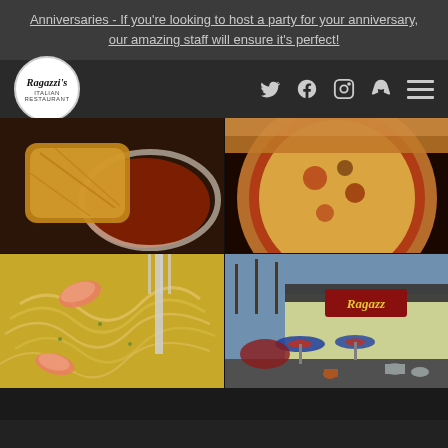Anniversaries - If you're looking to host a party for your anniversary, our amazing staff will ensure it's perfect!
[Figure (logo): Ragazzi's restaurant logo — circular white badge with italic text]
[Figure (photo): Collage of four restaurant photos: fried appetizer with dipping sauce (top-left), pizza close-up (top-right), shrimp pasta with fork (bottom-left), restaurant exterior with outdoor seating and umbrellas (bottom-right)]